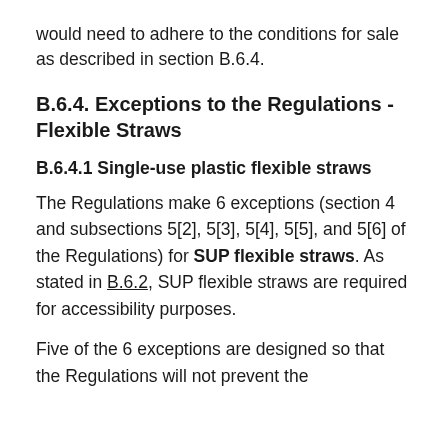would need to adhere to the conditions for sale as described in section B.6.4.
B.6.4. Exceptions to the Regulations - Flexible Straws
B.6.4.1 Single-use plastic flexible straws
The Regulations make 6 exceptions (section 4 and subsections 5[2], 5[3], 5[4], 5[5], and 5[6] of the Regulations) for SUP flexible straws. As stated in B.6.2, SUP flexible straws are required for accessibility purposes.
Five of the 6 exceptions are designed so that the Regulations will not prevent the